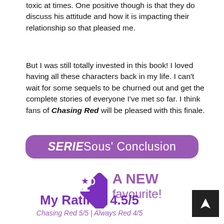toxic at times. One positive though is that they do discuss his attitude and how it is impacting their relationship so that pleased me.
But I was still totally invested in this book! I loved having all these characters back in my life. I can't wait for some sequels to be churned out and get the complete stories of everyone I've met so far. I think fans of Chasing Red will be pleased with this finale.
[Figure (infographic): Purple rounded rectangle banner reading 'SERIESous' Conclusion' with a purple diamond trophy icon and text 'A NEW favourite!' in purple]
My Rating: 4.5/5
Chasing Red 5/5 | Always Red 4/5